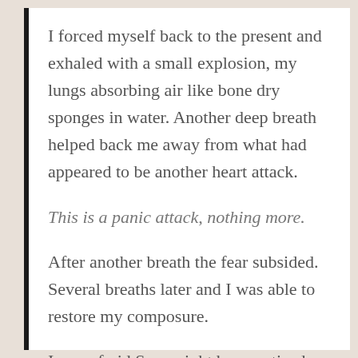I forced myself back to the present and exhaled with a small explosion, my lungs absorbing air like bone dry sponges in water. Another deep breath helped back me away from what had appeared to be another heart attack.
This is a panic attack, nothing more.
After another breath the fear subsided. Several breaths later and I was able to restore my composure.
I was afraid Sam might have noticed.